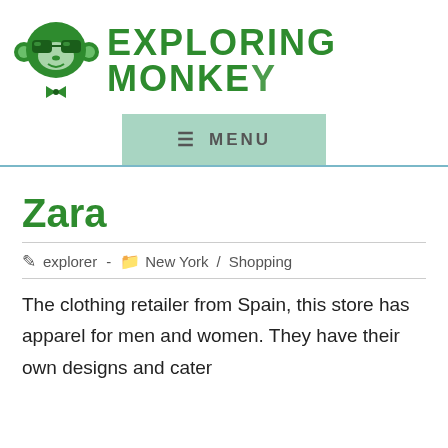EXPLORING MONKEY
[Figure (logo): Green cartoon monkey with sunglasses and bow tie logo for Exploring Monkey website]
Zara
explorer  -  New York  /  Shopping
The clothing retailer from Spain, this store has apparel for men and women. They have their own designs and cater